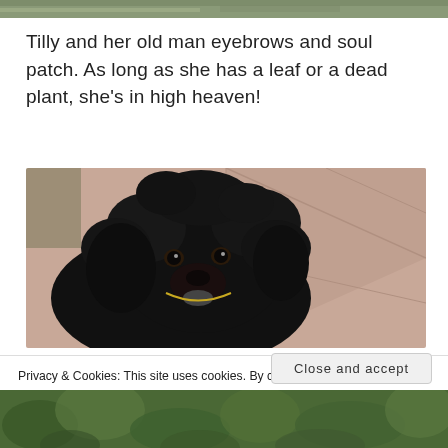[Figure (photo): Top partial strip of a green outdoor scene, partially cropped at the top of the page]
Tilly and her old man eyebrows and soul patch. As long as she has a leaf or a dead plant, she's in high heaven!
[Figure (photo): A black curly-haired poodle dog looking at the camera, lying on a stone/brick patio surface, with a gold chain collar visible]
Privacy & Cookies: This site uses cookies. By continuing to use this website, you agree to their use.
To find out more, including how to control cookies, see here: Cookie Policy
Close and accept
[Figure (photo): Bottom partial strip showing green foliage/plants, cropped at the bottom of the page]